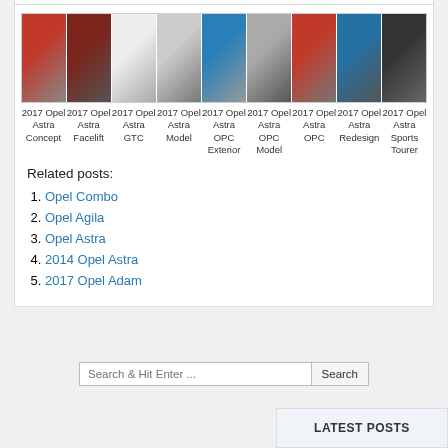[Figure (photo): A horizontal gallery strip of 9 car images, all showing 2017 Opel Astra variants: Concept, Facelift, GTC, Model, OPC Exterior, OPC Model, OPC, Redesign, Sports Tourer]
2017 Opel Astra Concept | 2017 Opel Astra Facelift | 2017 Opel Astra GTC | 2017 Opel Astra Model | 2017 Opel Astra OPC Exterior | 2017 Opel Astra OPC Model | 2017 Opel Astra OPC | 2017 Opel Astra Redesign | 2017 Opel Astra Sports Tourer
Related posts:
1. Opel Combo
2. Opel Agila
3. Opel Astra
4. 2014 Opel Astra
5. 2017 Opel Adam